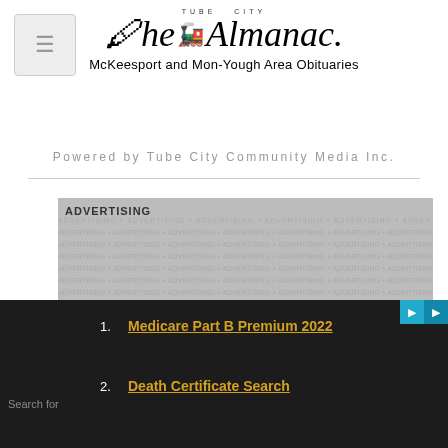[Figure (logo): Tube City Almanac newspaper logo with train illustration, titled 'The Almanac.' with subtitle 'McKeesport and Mon-Yough Area Obituaries']
Powered by Tube City Community Media Inc.
[Figure (other): Advertising placeholder block with repeating 'ADVERTISING' watermark text in gray]
Search for
1. Medicare Part B Premium 2022
2. Death Certificate Search